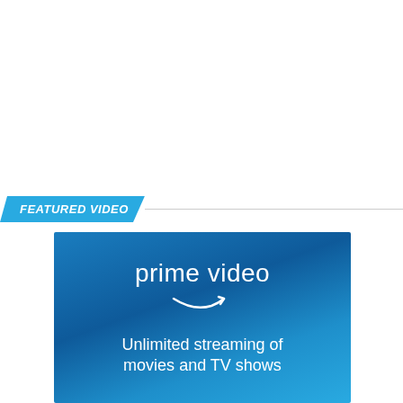FEATURED VIDEO
[Figure (logo): Amazon Prime Video logo and promotional banner with text 'prime video' and tagline 'Unlimited streaming of movies and TV shows' on a blue gradient background]